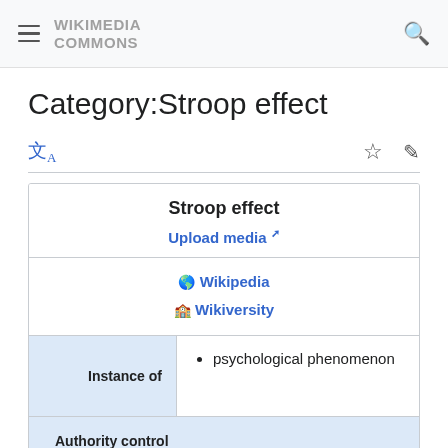Wikimedia Commons
Category:Stroop effect
Stroop effect
Upload media [external link]
Wikipedia
Wikiversity
Instance of: psychological phenomenon
Authority control